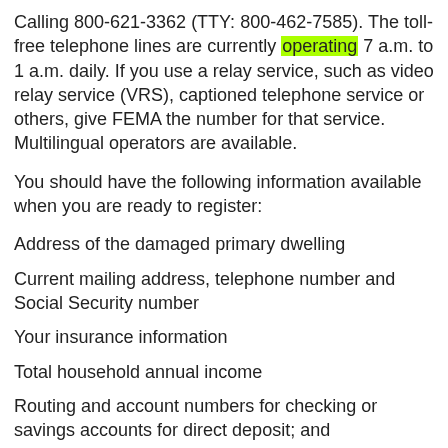Calling 800-621-3362 (TTY: 800-462-7585). The toll-free telephone lines are currently operating 7 a.m. to 1 a.m. daily. If you use a relay service, such as video relay service (VRS), captioned telephone service or others, give FEMA the number for that service.  Multilingual operators are available.
You should have the following information available when you are ready to register:
Address of the damaged primary dwelling
Current mailing address, telephone number and Social Security number
Your insurance information
Total household annual income
Routing and account numbers for checking or savings accounts for direct deposit; and